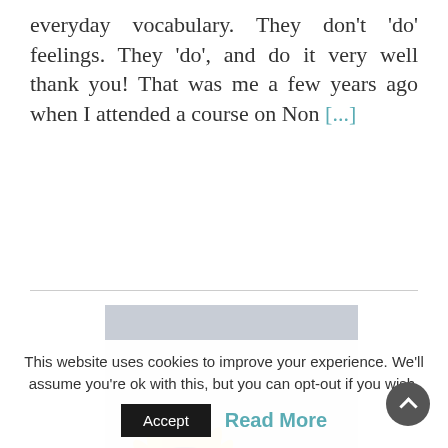everyday vocabulary. They don’t ‘do’ feelings. They ‘do’, and do it very well thank you! That was me a few years ago when I attended a course on Non [...]
[Figure (photo): Close-up photograph of a yellow sunflower on a light grey background, showing petals and center disc in the upper-left portion of the frame.]
This website uses cookies to improve your experience. We’ll assume you’re ok with this, but you can opt-out if you wish.
Accept
Read More